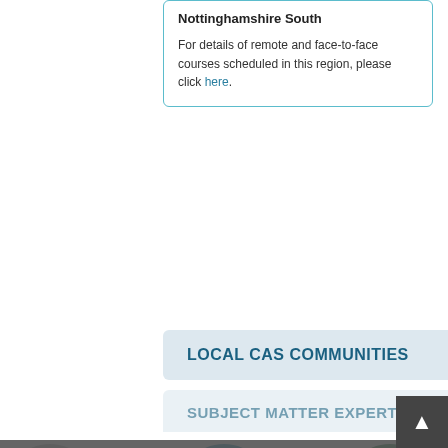Nottinghamshire South
For details of remote and face-to-face courses scheduled in this region, please click here.
LOCAL CAS COMMUNITIES
SUBJECT MATTER EXPERTS
We use cookies on our website to ensure that we give you the best experience. This includes cookies from third party social media websites, especially on pages where embedded content from social media can be found. Such third party cookies may track your use of our website. To continue with cookies, please click 'Accept' below. However, you can change your cookie settings at any time.
OUR SCHOOLS